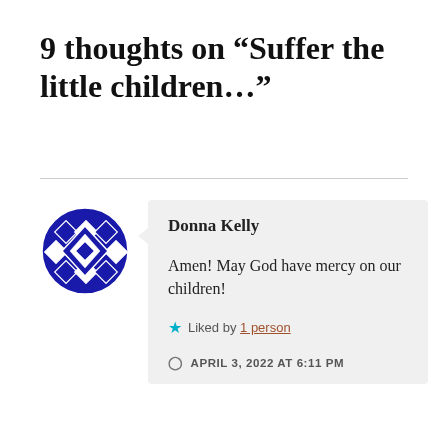9 thoughts on “Suffer the little children…”
Donna Kelly
Amen! May God have mercy on our children!
Liked by 1 person
APRIL 3, 2022 AT 6:11 PM